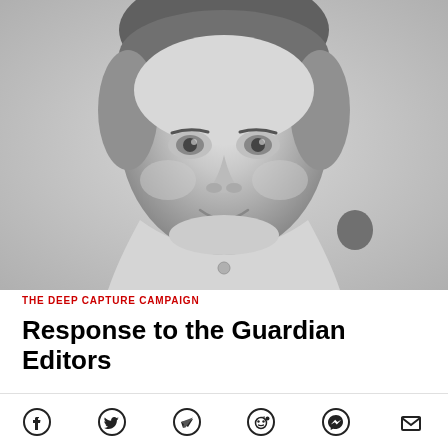[Figure (photo): Black and white close-up portrait photo of a middle-aged man with short hair, wearing a collared shirt, smiling slightly.]
THE DEEP CAPTURE CAMPAIGN
Response to the Guardian Editors
[Figure (infographic): Social media share bar with icons: Facebook, Twitter, Telegram, Reddit, Messenger, Email]